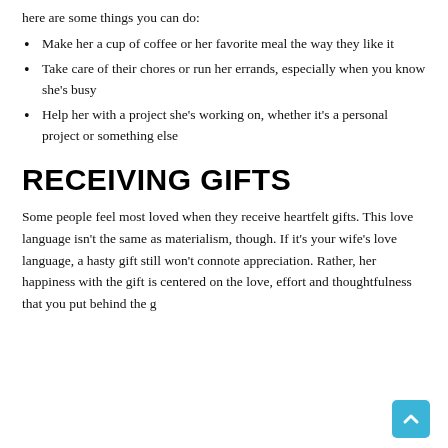here are some things you can do:
Make her a cup of coffee or her favorite meal the way they like it
Take care of their chores or run her errands, especially when you know she's busy
Help her with a project she's working on, whether it's a personal project or something else
RECEIVING GIFTS
Some people feel most loved when they receive heartfelt gifts. This love language isn't the same as materialism, though. If it's your wife's love language, a hasty gift still won't connote appreciation. Rather, her happiness with the gift is centered on the love, effort and thoughtfulness that you put behind the g…